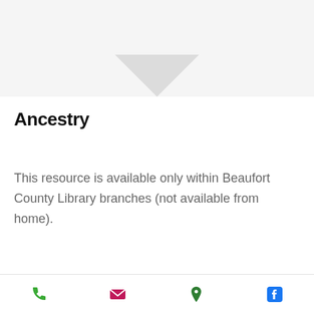[Figure (illustration): Gray card with downward-pointing chevron/arrow shape at top of page]
Ancestry
This resource is available only within Beaufort County Library branches (not available from home).
[Figure (logo): Partial AutoMate or similar Auto-branded logo at bottom of page, dark blue text with green arc graphic element]
Phone | Email | Location | Facebook icons navigation bar